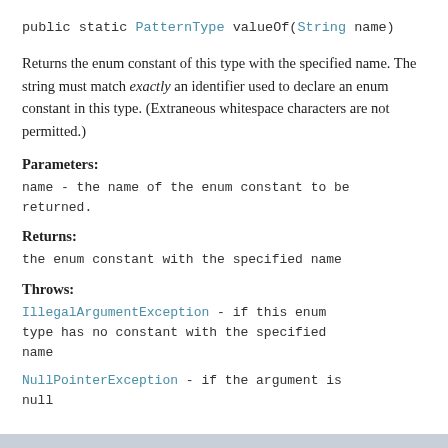public static PatternType valueOf(String name)
Returns the enum constant of this type with the specified name. The string must match exactly an identifier used to declare an enum constant in this type. (Extraneous whitespace characters are not permitted.)
Parameters:
name - the name of the enum constant to be returned.
Returns:
the enum constant with the specified name
Throws:
IllegalArgumentException - if this enum type has no constant with the specified name
NullPointerException - if the argument is null